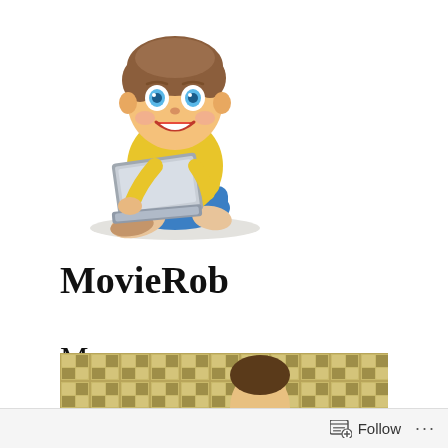[Figure (illustration): Cartoon illustration of a boy with brown hair sitting cross-legged, smiling, using a laptop computer. He wears a yellow t-shirt and blue shorts. The figure is styled as a vector/clipart image.]
MovieRob
Menu
[Figure (photo): Partial photo showing a tan/gold checkered or tiled background with a person's head (face partially visible) in the lower right area.]
Follow ...